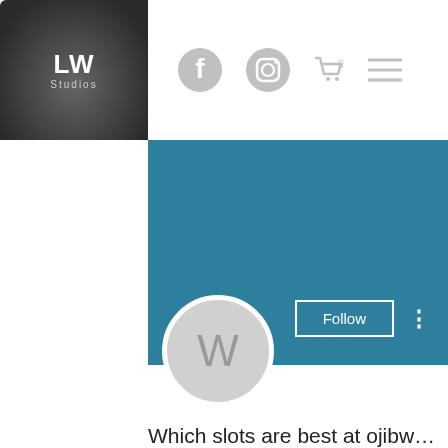[Figure (logo): LW Studios logo in dark rounded square]
[Figure (screenshot): Navigation icons: Facebook, Instagram, cart with 0, hamburger menu]
[Figure (screenshot): Teal/blue profile banner with Follow button and three-dots menu]
[Figure (illustration): Gray circle avatar with letter W]
Which slots are best at ojibw…
0 Followers • 0 Following
[Figure (screenshot): Dropdown filter box with chevron]
Profile
Join date: May 18, 2022